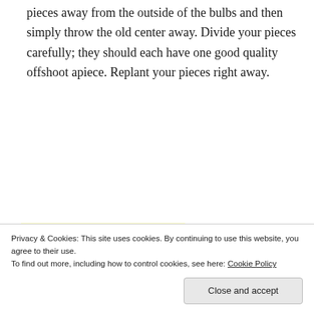pieces away from the outside of the bulbs and then simply throw the old center away. Divide your pieces carefully; they should each have one good quality offshoot apiece. Replant your pieces right away.
TIP! Irises can be easily divided. Overgrown clumps of irises can be divided up to increase your numbers of this lovely flower.
It can be easy to quickly prepare your perennial garden. Use a spade to dig into the turf, then flip each piece over, and spread wood chips on top
Privacy & Cookies: This site uses cookies. By continuing to use this website, you agree to their use. To find out more, including how to control cookies, see here: Cookie Policy
Close and accept